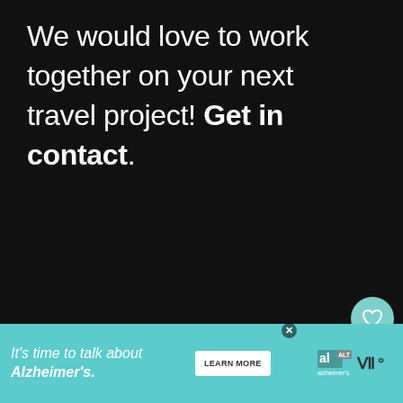We would love to work together on your next travel project! Get in contact.
[Figure (screenshot): Dark background webpage UI with heart/like button showing 606 likes, share button, and 'What's Next' card previewing '30 Must-Have Carry-On...']
[Figure (screenshot): Advertisement banner: teal background with 'It's time to talk about Alzheimer's.' text, 'LEARN MORE' button, and Alzheimer's Association logo]